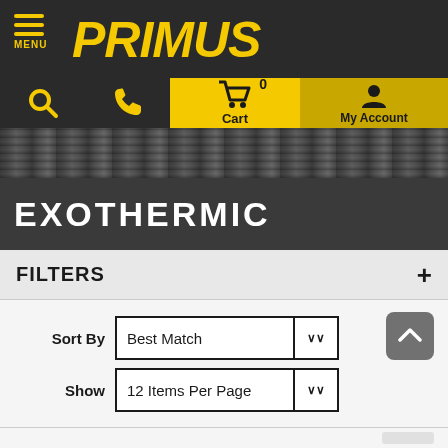PRIMUS — Navigation header with Menu, Cart, My Account
[Figure (screenshot): Hero banner with city skyline/construction background image]
EXOTHERMIC
FILTERS +
Sort By: Best Match (dropdown), Show: 12 Items Per Page (dropdown)